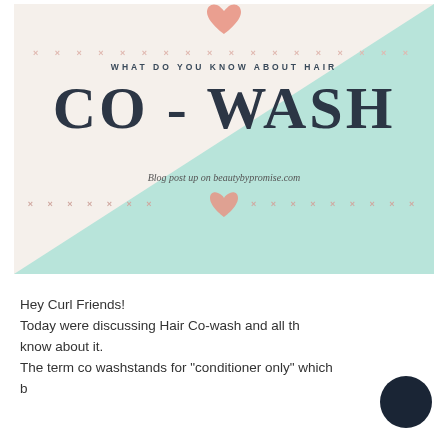[Figure (illustration): Decorative blog graphic with teal triangle background, X pattern borders, pink hearts, subtitle 'WHAT DO YOU KNOW ABOUT HAIR', large title 'CO - WASH', and italic text 'Blog post up on beautybypromise.com']
Hey Curl Friends!
Today were discussing Hair Co-wash and all the know about it.
The term co washstands for "conditioner only" which basically ...